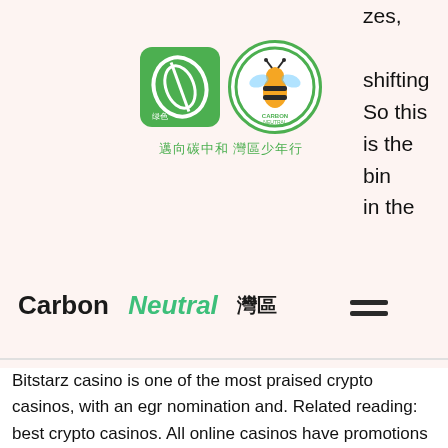[Figure (logo): Two logos side by side: a green square leaf logo and a circular Carbon Neutral bee logo, with Chinese text below reading 邁向碳中和 灣區少年行]
Carbon Neutral 灣區
zes, shifting So this is the bin in the
Bitstarz casino is one of the most praised crypto casinos, with an egr nomination and. Related reading: best crypto casinos. All online casinos have promotions such as juicy welcome bonuses, free spins, and more. lo | best overall - 100 free spins for deposits above 0. Crypto slots free spins are one of the most exciting offers at bitcoin casinos, and we've listed them all. Find your free spin here! →. And that's why we've put together this bitcoin casino bonus guide as a starting point. In it, we'll reveal everything you need to know about claiming crypto. Check out our ultimate guide of the best